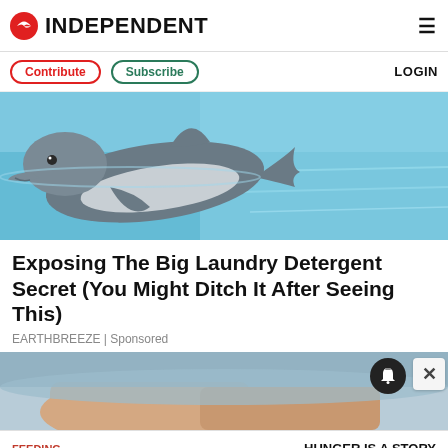INDEPENDENT
Contribute  Subscribe  LOGIN
[Figure (photo): A dolphin swimming in a light blue pool, viewed from the side with its head above water]
Exposing The Big Laundry Detergent Secret (You Might Ditch It After Seeing This)
EARTHBREEZE | Sponsored
[Figure (photo): Close-up of hands in a light blue setting, with notification bell icon and close button overlay]
HUNGER IS A STORY WE CAN END. — Feeding America Ad Council